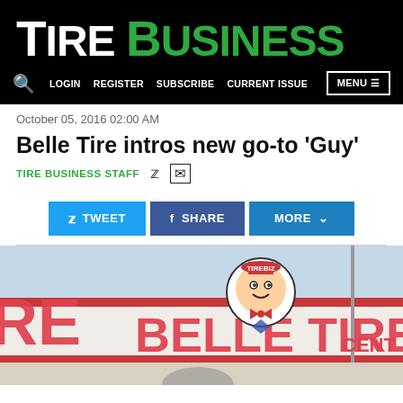TIRE BUSINESS
LOGIN REGISTER SUBSCRIBE CURRENT ISSUE MENU
October 05, 2016 02:00 AM
Belle Tire intros new go-to 'Guy'
TIRE BUSINESS STAFF
[Figure (screenshot): Social sharing buttons: TWEET, SHARE, MORE]
[Figure (photo): Photo of a Belle Tire store exterior showing the Belle Tire mascot sign and large red letters spelling BELLE TIRE on the building facade.]